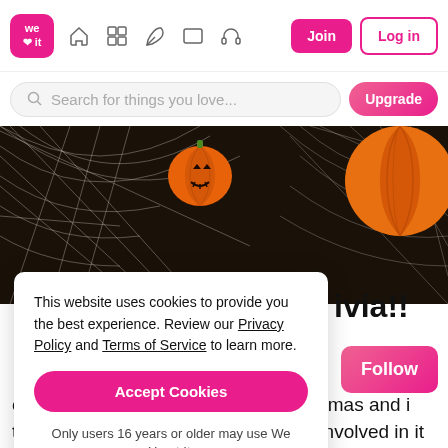We Heart It — Navigation bar with logo, home, grid, edit, rectangle, headphone icons, Join and Log in buttons
Search for things you love...
[Figure (photo): Halloween themed photo showing a jack-o-lantern candy and an orange pumpkin on a dark background with spider web fabric]
This website uses cookies to provide you the best experience. Review our Privacy Policy and Terms of Service to learn more.
Accept Cookies
Only users 16 years or older may use We Heart It.
ivia!!
Follow
ourite holiday to celebrate after Christmas and i think that is because you can get as involved in it as you want and go all out with decorating or dressing up